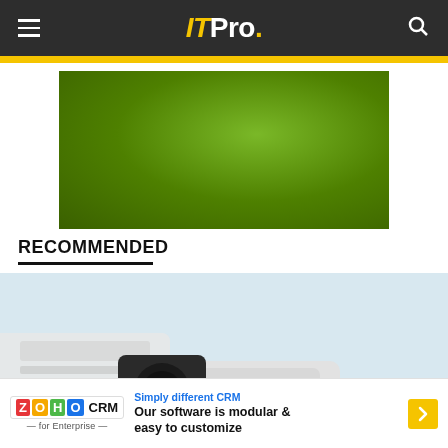ITPro.
[Figure (photo): Green background image placeholder]
RECOMMENDED
[Figure (photo): Hikvision security cameras — two bullet-style IP cameras on mounts against a light grey background]
[Figure (other): Zoho CRM advertisement banner: 'Simply different CRM — Our software is modular & easy to customize']